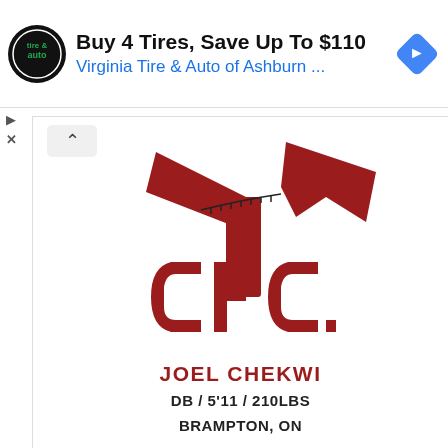[Figure (screenshot): Advertisement banner: Virginia Tire & Auto logo, text 'Buy 4 Tires, Save Up To $110', subtitle 'Virginia Tire & Auto of Ashburn ...', blue navigation icon on right, play/close buttons on left]
[Figure (logo): CFC (Canadian Football Council) logo in dark red: stylized football with letter T shape on top, letters CFC below, player name JOEL CHEKWI, position DB/5'11/210LBS, location BRAMPTON, ON, navigation arrows at bottom]